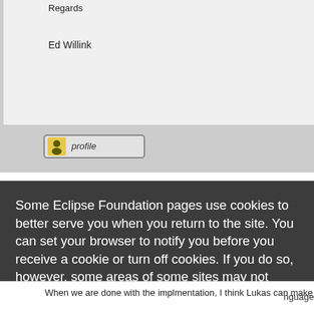Regards
Ed Willink
[Figure (screenshot): Profile button with user icon and italic 'profile' label]
Some Eclipse Foundation pages use cookies to better serve you when you return to the site. You can set your browser to notify you before you receive a cookie or turn off cookies. If you do so, however, some areas of some sites may not function properly. To read Eclipse Foundation Privacy Policy click here.
Decline
Allow cookies
When we are done with the implmentation, I think Lukas can make